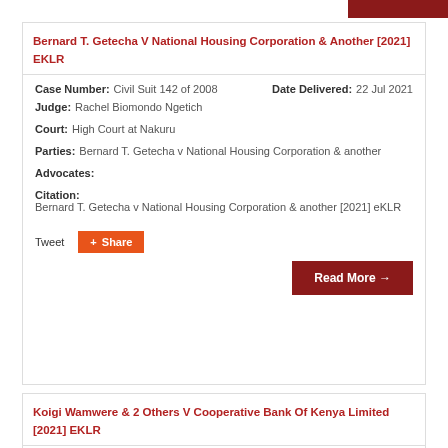Bernard T. Getecha V National Housing Corporation & Another [2021] EKLR
Case Number: Civil Suit 142 of 2008 | Date Delivered: 22 Jul 2021 | Judge: Rachel Biomondo Ngetich | Court: High Court at Nakuru | Parties: Bernard T. Getecha v National Housing Corporation & another | Advocates: | Citation: Bernard T. Getecha v National Housing Corporation & another [2021] eKLR
Tweet | Share | Read More
Koigi Wamwere & 2 Others V Cooperative Bank Of Kenya Limited [2021] EKLR
Case Number: Civil Appeal 167 of 2019 | Date Delivered: 24 Jun 2021